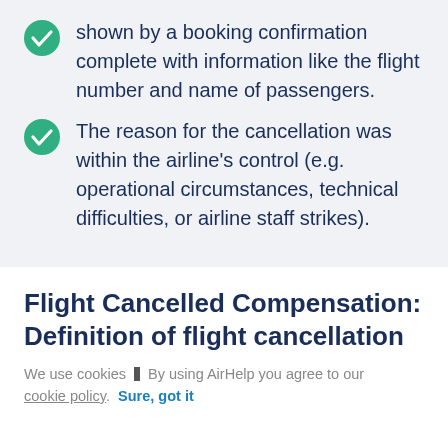shown by a booking confirmation complete with information like the flight number and name of passengers.
The reason for the cancellation was within the airline's control (e.g. operational circumstances, technical difficulties, or airline staff strikes).
Flight Cancelled Compensation: Definition of flight cancellation
We use cookies | By using AirHelp you agree to our cookie policy. Sure, got it